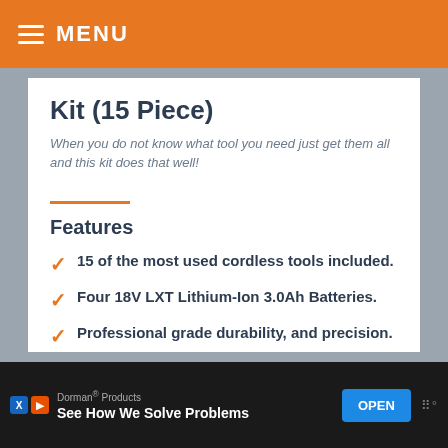MENU
Kit (15 Piece)
When you do not know what tool you need just get them all and this kit does that well!
Features
15 of the most used cordless tools included.
Four 18V LXT Lithium-Ion 3.0Ah Batteries.
Professional grade durability, and precision.
Dorman® Products — See How We Solve Problems — OPEN